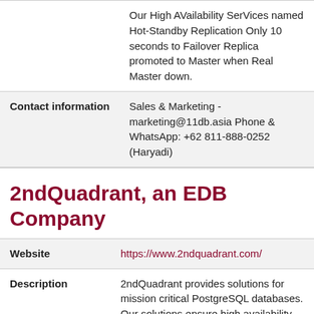|  | Our High AVailability SerVices named Hot-Standby Replication Only 10 seconds to Failover Replica promoted to Master when Real Master down. |
| Contact information | Sales & Marketing - marketing@11db.asia Phone & WhatsApp: +62 811-888-0252 (Haryadi) |
2ndQuadrant, an EDB Company
| Website | https://www.2ndquadrant.com/ |
| Description | 2ndQuadrant provides solutions for mission critical PostgreSQL databases. Our solutions ensure high availability, disaster recovery, backup & failover management & more. We provide tools |